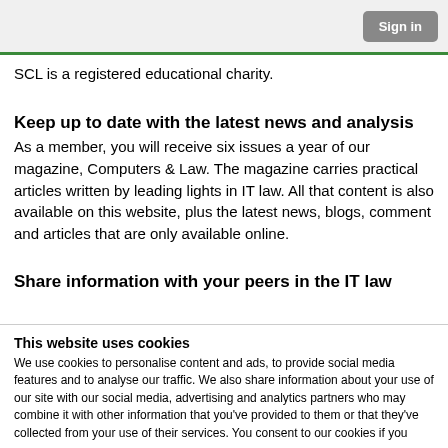Sign in
SCL is a registered educational charity.
Keep up to date with the latest news and analysis
As a member, you will receive six issues a year of our magazine, Computers & Law. The magazine carries practical articles written by leading lights in IT law. All that content is also available on this website, plus the latest news, blogs, comment and articles that are only available online.
Share information with your peers in the IT law
This website uses cookies
We use cookies to personalise content and ads, to provide social media features and to analyse our traffic. We also share information about your use of our site with our social media, advertising and analytics partners who may combine it with other information that you've provided to them or that they've collected from your use of their services. You consent to our cookies if you